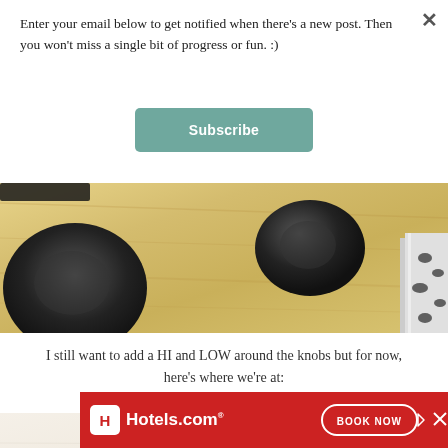Enter your email below to get notified when there's a new post. Then you won't miss a single bit of progress or fun. :)
Subscribe
[Figure (photo): Close-up photo of a wooden board (light pine/yellow wood) with two large black round knobs on it, viewed at an angle. A decorative frame element with a leopard/animal print pattern is visible on the right edge.]
I still want to add a HI and LOW around the knobs but for now, here's where we're at:
[Figure (photo): Partial photo of a bathroom or shelf scene with a light beige/cream background. A decorative whisk or metallic object and a teal/mint colored item are visible on the right side.]
[Figure (other): Hotels.com advertisement banner with red background, Hotels.com logo, and BOOK NOW button with forward/close arrows.]